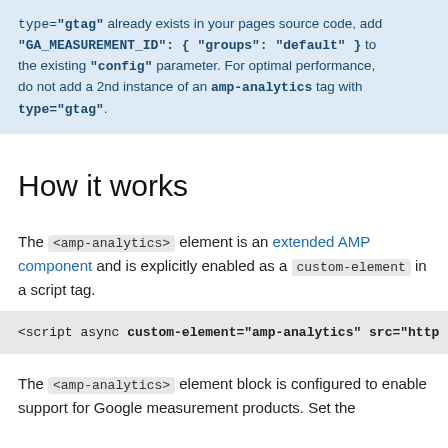type="gtag" already exists in your pages source code, add "GA_MEASUREMENT_ID": { "groups": "default" } to the existing "config" parameter. For optimal performance, do not add a 2nd instance of an amp-analytics tag with type="gtag".
How it works
The <amp-analytics> element is an extended AMP component and is explicitly enabled as a custom-element in a script tag.
<script async custom-element="amp-analytics" src="http
The <amp-analytics> element block is configured to enable support for Google measurement products. Set the